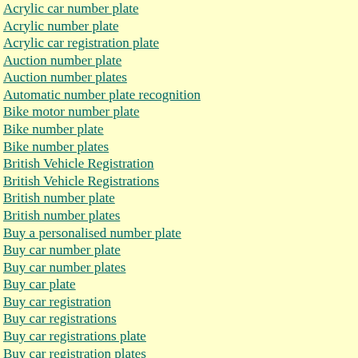Acrylic car number plate
Acrylic number plate
Acrylic car registration plate
Auction number plate
Auction number plates
Automatic number plate recognition
Bike motor number plate
Bike number plate
Bike number plates
British Vehicle Registration
British Vehicle Registrations
British number plate
British number plates
Buy a personalised number plate
Buy car number plate
Buy car number plates
Buy car plate
Buy car registration
Buy car registrations
Buy car registrations plate
Buy car registration plates
Buy number plate
Buy Numberplate
Buy number plates
Buy numberplate
Buy personal number plate